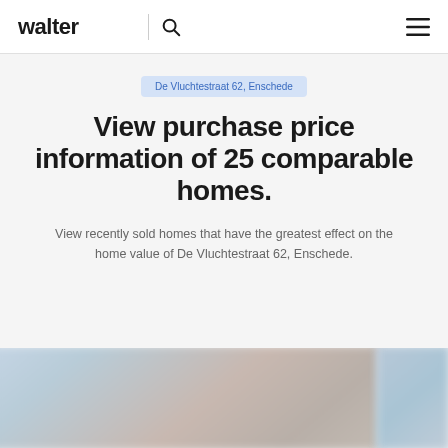walter | [search icon] [menu icon]
De Vluchtestraat 62, Enschede
View purchase price information of 25 comparable homes.
View recently sold homes that have the greatest effect on the home value of De Vluchtestraat 62, Enschede.
[Figure (photo): Two blurred property photos at the bottom of the page]